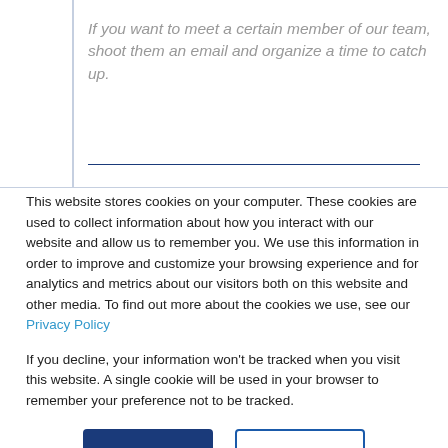If you want to meet a certain member of our team, shoot them an email and organize a time to catch up.
This website stores cookies on your computer. These cookies are used to collect information about how you interact with our website and allow us to remember you. We use this information in order to improve and customize your browsing experience and for analytics and metrics about our visitors both on this website and other media. To find out more about the cookies we use, see our Privacy Policy
If you decline, your information won't be tracked when you visit this website. A single cookie will be used in your browser to remember your preference not to be tracked.
Accept | Decline